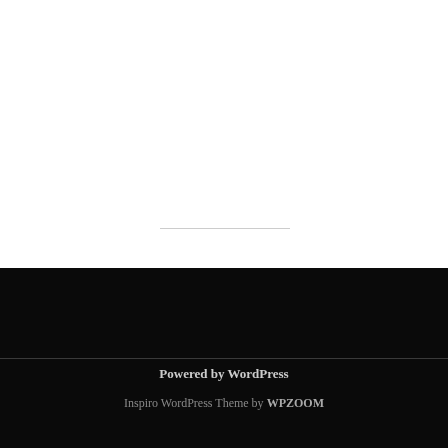Powered by WordPress
Inspiro WordPress Theme by WPZOOM